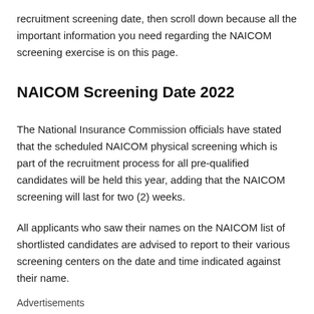recruitment screening date, then scroll down because all the important information you need regarding the NAICOM screening exercise is on this page.
NAICOM Screening Date 2022
The National Insurance Commission officials have stated that the scheduled NAICOM physical screening which is part of the recruitment process for all pre-qualified candidates will be held this year, adding that the NAICOM screening will last for two (2) weeks.
All applicants who saw their names on the NAICOM list of shortlisted candidates are advised to report to their various screening centers on the date and time indicated against their name.
Advertisements
From time to time, we provide our readers with the latest news